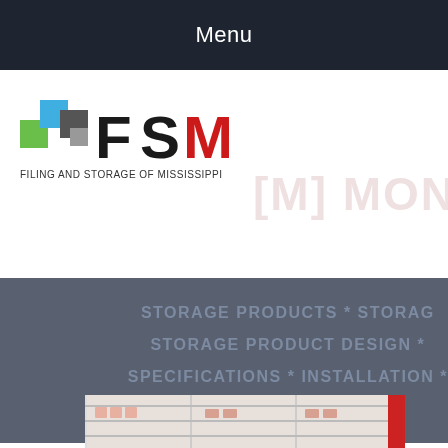Menu
[Figure (logo): FSM - Filing and Storage of Mississippi logo with colored squares and bold FSM letters]
[Figure (illustration): Montrel watermark text in faint red/pink]
STORAGE PRODUCTS * STORAGE PRODUCT DESIGN * SPECIFICATIONS * INSTALLATION * FURNITURE * F...
[Figure (photo): Bottom photo strip showing storage shelves with files/binders]